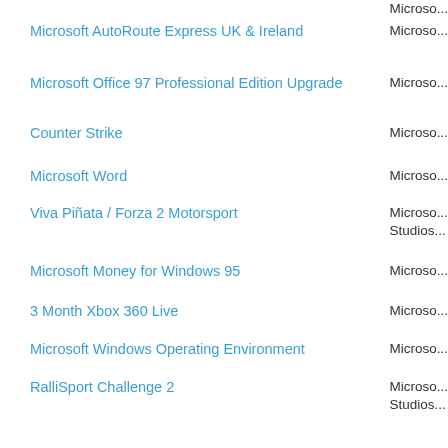Microsoft AutoRoute Express UK & Ireland | Microso...
Microsoft Office 97 Professional Edition Upgrade | Microso...
Counter Strike | Microso...
Microsoft Word | Microso...
Viva Piñata / Forza 2 Motorsport | Microso... Studios...
Microsoft Money for Windows 95 | Microso...
3 Month Xbox 360 Live | Microso...
Microsoft Windows Operating Environment | Microso...
RalliSport Challenge 2 | Microso... Studios...
Microsoft Access | Microso...
Blood Wake | Microso... Studios...
Microsoft Works 8.5 | Microso...
Microsoft Works and Entertainment Suite 2006 | Microso...